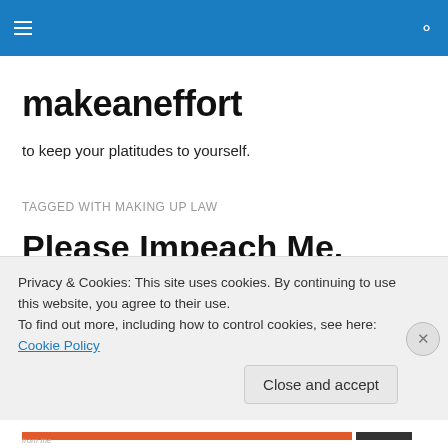makeaneffort navigation bar
makeaneffort
to keep your platitudes to yourself.
TAGGED WITH MAKING UP LAW
Please Impeach Me.
Or at the very least, please try — PLEASE!
Privacy & Cookies: This site uses cookies. By continuing to use this website, you agree to their use.
To find out more, including how to control cookies, see here: Cookie Policy
Close and accept